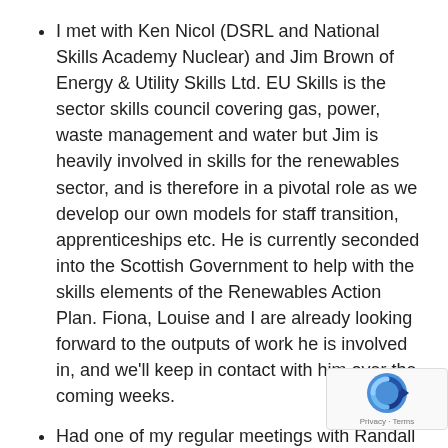I met with Ken Nicol (DSRL and National Skills Academy Nuclear) and Jim Brown of Energy & Utility Skills Ltd. EU Skills is the sector skills council covering gas, power, waste management and water but Jim is heavily involved in skills for the renewables sector, and is therefore in a pivotal role as we develop our own models for staff transition, apprenticeships etc. He is currently seconded into the Scottish Government to help with the skills elements of the Renewables Action Plan. Fiona, Louise and I are already looking forward to the outputs of work he is involved in, and we'll keep in contact with him over the coming weeks.
Had one of my regular meetings with Randall Bargelt, NDA at NDA's Forss. NDA part-funds my post, and Randall the Partnership's Executive Board, and we